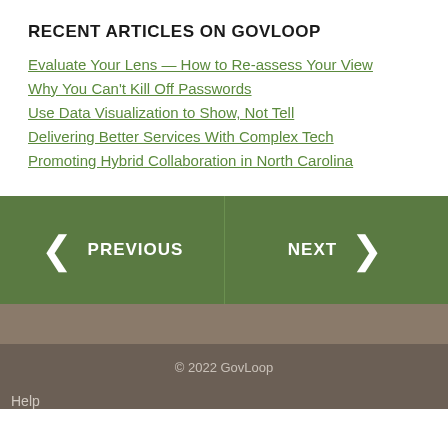RECENT ARTICLES ON GOVLOOP
Evaluate Your Lens — How to Re-assess Your View
Why You Can't Kill Off Passwords
Use Data Visualization to Show, Not Tell
Delivering Better Services With Complex Tech
Promoting Hybrid Collaboration in North Carolina
PREVIOUS
NEXT
© 2022 GovLoop
Help